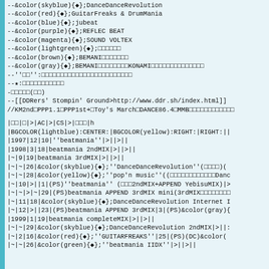--&color(skyblue){◆};DanceDanceRevolution
--&color(red){◆};GuitarFreaks & DrumMania
--&color(blue){◆};jubeat
--&color(purple){◆};REFLEC BEAT
--&color(magenta){◆};SOUND VOLTEX
--&color(lightgreen){◆};□□□□□□
--&color(brown){◆};BEMANI□□□□□□□
--&color(gray){◆};BEMANI□□□□□□□□KONAMI□□□□□□□□□□□□□□
--''□□'':□□□□□□□□□□□□□□□□□□□□□□□□
--★:□□□□□□□□□□□
-□□□□□(□□)
--[[DDRers' Stompin' Ground>http://www.ddr.sh/index.html]]
//KM2nd□PPP1.1□PPP1st+□Toy's March□DANCE86.4□MMB□□□□□□□□□□□□
|□□|□|>|AC|>|CS|>|□□□|h
|BGCOLOR(lightblue):CENTER:|BGCOLOR(yellow):RIGHT:|RIGHT:||
|1997|12|10|''beatmania''|>||>||
|1998|3|18|beatmania 2ndMIX|>||>||
|~|9|19|beatmania 3rdMIX|>||>||
|~|~|26|&color(skyblue){◆};''DanceDanceRevolution''(□□□□)(
|~|~|28|&color(yellow){◆};''pop'n music''((□□□□□□□□□□□□Danc
|~|10|>||1|(PS)''beatmania'' (□□□2ndMIX+APPEND YebisuMIX)|>
|~|~|>|~|29|(PS)beatmania APPEND 3rdMIX mini(3rdMIX□□□□□□□□
|~|11|18|&color(skyblue){◆};DanceDanceRevolution Internet I
|~|12|>||23|(PS)beatmania APPEND 3rdMIX|3|(PS)&color(gray){
|1999|1|19|beatmania completeMIX|>||>||
|~|~|29|&color(skyblue){◆};DanceDanceRevolution 2ndMIX|>||:
|~|2|16|&color(red){◆};''GUITARFREAKS''|25|(PS)(DC)&color(
|~|~|26|&color(green){◆};''beatmania IIDX''|>||>||